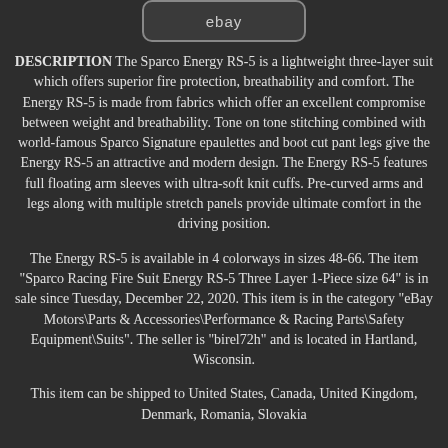[Figure (logo): eBay logo placeholder box with rounded corners]
DESCRIPTION The Sparco Energy RS-5 is a lightweight three-layer suit which offers superior fire protection, breathability and comfort. The Energy RS-5 is made from fabrics which offer an excellent compromise between weight and breathability. Tone on tone stitching combined with world-famous Sparco Signature epaulettes and boot cut pant legs give the Energy RS-5 an attractive and modern design. The Energy RS-5 features full floating arm sleeves with ultra-soft knit cuffs. Pre-curved arms and legs along with multiple stretch panels provide ultimate comfort in the driving position.
The Energy RS-5 is available in 4 colorways in sizes 48-66. The item "Sparco Racing Fire Suit Energy RS-5 Three Layer 1-Piece size 64" is in sale since Tuesday, December 22, 2020. This item is in the category "eBay Motors\Parts & Accessories\Performance & Racing Parts\Safety Equipment\Suits". The seller is "birel72h" and is located in Hartland, Wisconsin.
This item can be shipped to United States, Canada, United Kingdom, Denmark, Romania, Slovakia